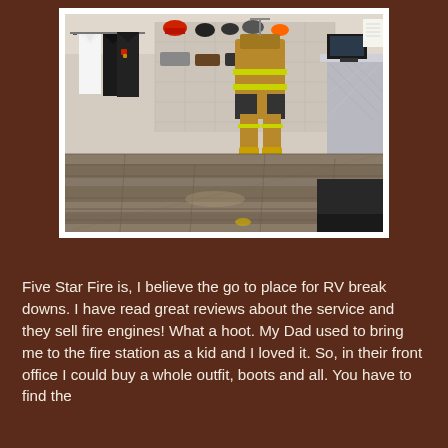[Figure (photo): Interior of a fire equipment store showing clothing rack with black and white shirts/uniforms on the left, a full firefighter turnout gear (tan/brown with yellow-green reflective stripes) hanging in the center-background, a metal display counter on the right with various helmets and equipment on shelves behind it, and a wood-plank style floor.]
Five Star Fire is, I believe the go to place for RV break downs. I have read great reviews about the service and they sell fire engines! What a hoot. My Dad used to bring me to the fire station as a kid and I loved it. So, in their front office I could buy a whole outfit, boots and all. You have to find the